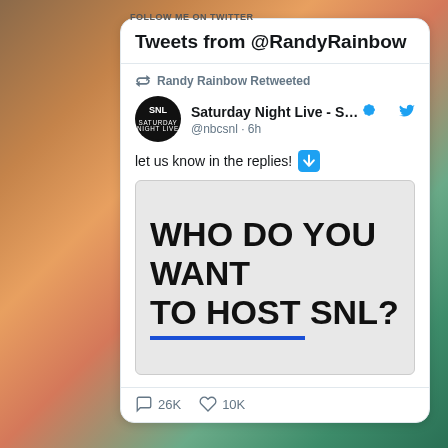FOLLOW ME ON TWITTER
Tweets from @RandyRainbow
Randy Rainbow Retweeted
Saturday Night Live - S... @nbcsnl · 6h
let us know in the replies! ⬇
[Figure (screenshot): Image with handwritten-style bold text reading WHO DO YOU WANT TO HOST SNL? with a blue underline beneath SNL?]
26K replies, 10K likes